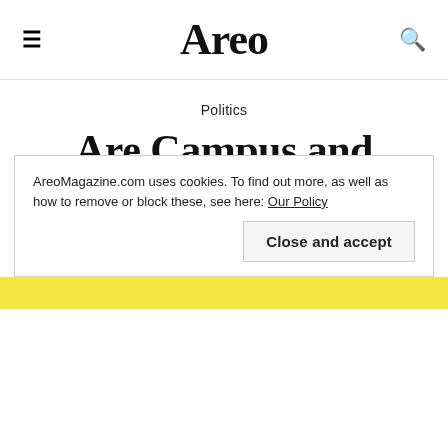Areo
Politics
Are Campus and Media Conservatives Asking For It?
AreoMagazine.com uses cookies. To find out more, as well as how to remove or block these, see here: Our Policy
Close and accept